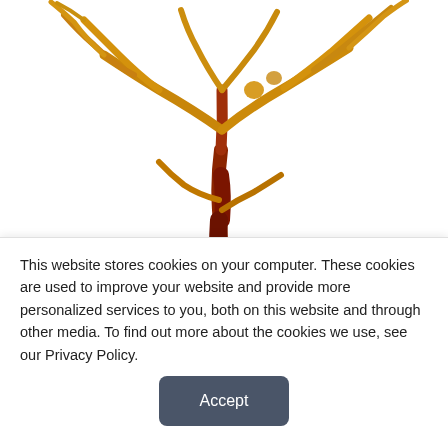[Figure (photo): Brown/golden algae (seaweed) specimen with branching structure, golden-yellow and red-brown coloring, photographed against white background]
Research Touts Brown Algae as Possible CLI Amputation Prevention
March 21, 2019
[Figure (photo): Medical photograph showing legs/feet with medical devices or braces attached, clinical setting]
This website stores cookies on your computer. These cookies are used to improve your website and provide more personalized services to you, both on this website and through other media. To find out more about the cookies we use, see our Privacy Policy.
Accept